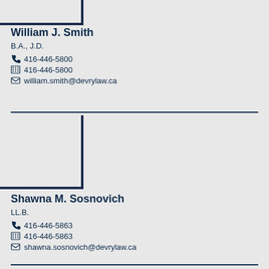[Figure (photo): Partial photo of William J. Smith (top portion visible, top-left corner)]
William J. Smith
B.A., J.D.
📞 416-446-5800
🖷 416-446-5800
✉ william.smith@devrylaw.ca
[Figure (photo): Photo of Shawna M. Sosnovich]
Shawna M. Sosnovich
LL.B.
📞 416-446-5863
🖷 416-446-5863
✉ shawna.sosnovich@devrylaw.ca